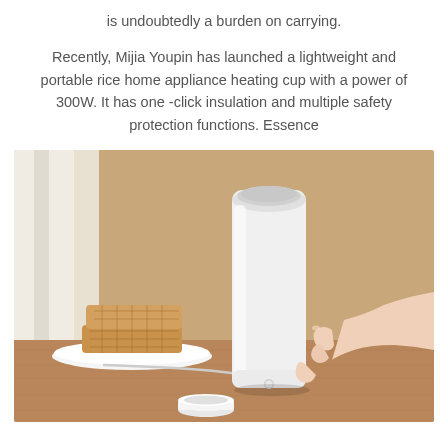is undoubtedly a burden on carrying.
Recently, Mijia Youpin has launched a lightweight and portable rice home appliance heating cup with a power of 300W. It has one -click insulation and multiple safety protection functions. Essence
[Figure (photo): A white portable electric heating cup/thermos bottle sitting on a wooden table surface. A person's hand is touching the right side of the cup. In the background to the left is a white plate with waffles/crackers, a white small cup/lid in the foreground, and a beige/tan wall background. The cup has a power button near the base.]